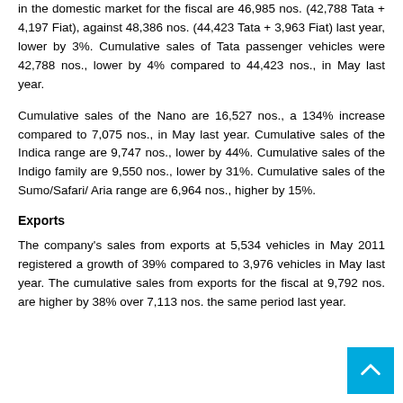in the domestic market for the fiscal are 46,985 nos. (42,788 Tata + 4,197 Fiat), against 48,386 nos. (44,423 Tata + 3,963 Fiat) last year, lower by 3%. Cumulative sales of Tata passenger vehicles were 42,788 nos., lower by 4% compared to 44,423 nos., in May last year.
Cumulative sales of the Nano are 16,527 nos., a 134% increase compared to 7,075 nos., in May last year. Cumulative sales of the Indica range are 9,747 nos., lower by 44%. Cumulative sales of the Indigo family are 9,550 nos., lower by 31%. Cumulative sales of the Sumo/Safari/ Aria range are 6,964 nos., higher by 15%.
Exports
The company's sales from exports at 5,534 vehicles in May 2011 registered a growth of 39% compared to 3,976 vehicles in May last year. The cumulative sales from exports for the fiscal at 9,792 nos. are higher by 38% over 7,113 nos. the same period last year.